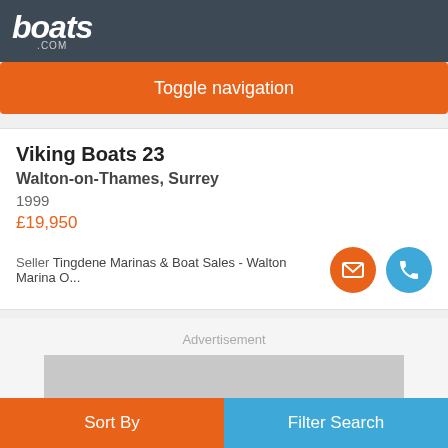boats.com
Toggle navigation
Viking Boats 23
Walton-on-Thames, Surrey
1999
£19,950
Seller Tingdene Marinas & Boat Sales - Walton Marina O...
Advertisement
Sort By | Filter Search